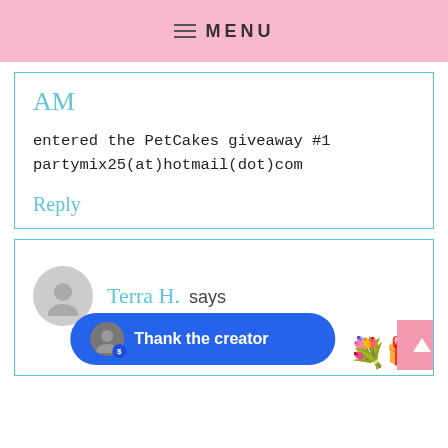MENU
AM
entered the PetCakes giveaway #1
partymix25(at)hotmail(dot)com
Reply
Terra H. says
AM